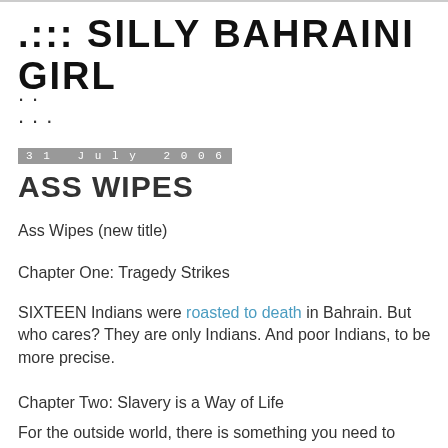.::: SILLY BAHRAINI GIRL
.. ...
31 July 2006
ASS WIPES
Ass Wipes (new title)
Chapter One: Tragedy Strikes
SIXTEEN Indians were roasted to death in Bahrain. But who cares? They are only Indians. And poor Indians, to be more precise.
Chapter Two: Slavery is a Way of Life
For the outside world, there is something you need to know about us Gulf Arabs (not all of us). We were born with a